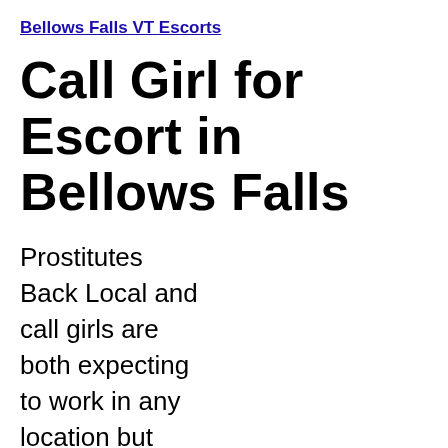Bellows Falls VT Escorts
Call Girl for Escort in Bellows Falls
Prostitutes Back Local and call girls are both expecting to work in any location but many want to have complete privacy when being topless or performing oral sex on